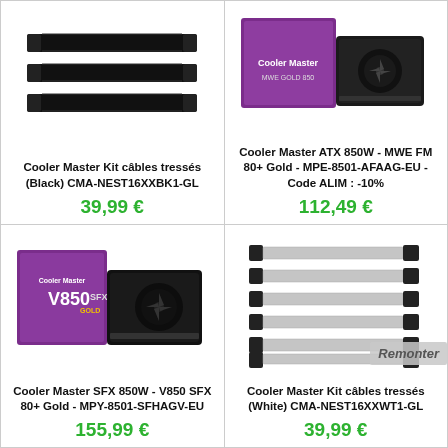[Figure (photo): Cooler Master black braided cable kit product image showing multiple flat black cables]
Cooler Master Kit câbles tressés (Black) CMA-NEST16XXBK1-GL
39,99 €
[Figure (photo): Cooler Master ATX 850W MWE FM 80+ Gold power supply unit with purple packaging]
Cooler Master ATX 850W - MWE FM 80+ Gold - MPE-8501-AFAAG-EU - Code ALIM : -10%
112,49 €
[Figure (photo): Cooler Master SFX 850W V850 SFX 80+ Gold power supply with purple box packaging]
Cooler Master SFX 850W - V850 SFX 80+ Gold - MPY-8501-SFHAGV-EU
155,99 €
[Figure (photo): Cooler Master white braided cable kit showing multiple flat silver/white cables]
Cooler Master Kit câbles tressés (White) CMA-NEST16XXWT1-GL
39,99 €